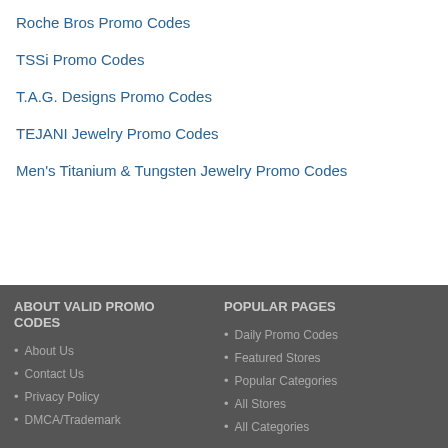Roche Bros Promo Codes
TSSi Promo Codes
T.A.G. Designs Promo Codes
TEJANI Jewelry Promo Codes
Men's Titanium & Tungsten Jewelry Promo Codes
ABOUT VALID PROMO CODES | POPULAR PAGES | About Us | Contact Us | Privacy Policy | DMCA/Trademark | Daily Promo Codes | Featured Stores | Popular Categories | All Stores | All Categories